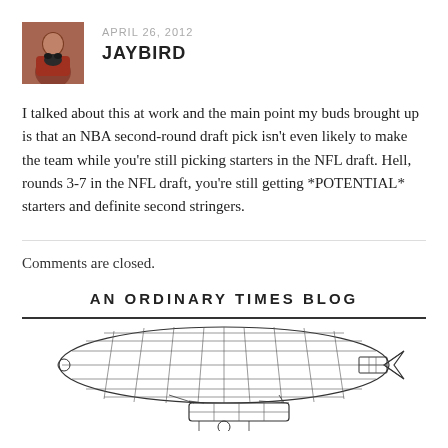APRIL 26, 2012
JAYBIRD
I talked about this at work and the main point my buds brought up is that an NBA second-round draft pick isn't even likely to make the team while you're still picking starters in the NFL draft. Hell, rounds 3-7 in the NFL draft, you're still getting *POTENTIAL* starters and definite second stringers.
Comments are closed.
AN ORDINARY TIMES BLOG
[Figure (illustration): Line drawing illustration of a vintage blimp/airship (dirigible) with a gondola underneath, rendered in black ink on white background.]